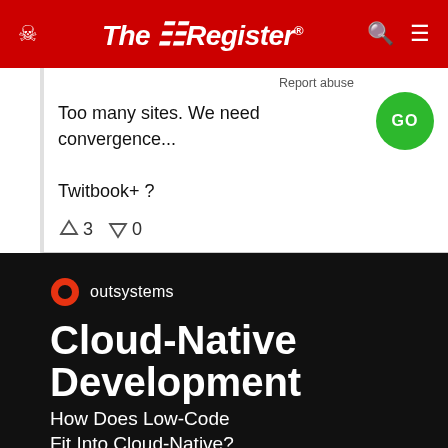The Register
Report abuse
Too many sites. We need convergence...
Twitbook+ ?
↑3  ↓0
[Figure (logo): OutSystems advertisement banner: red circle logo with 'outsystems' text, large white bold text 'Cloud-Native Development', subtitle 'How Does Low-Code Fit Into Cloud-Native?']